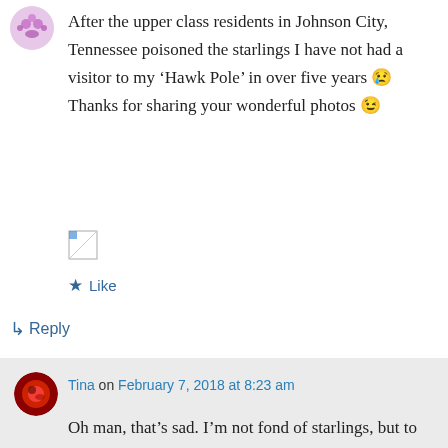[Figure (illustration): Small pink/purple decorative avatar icon in top left]
After the upper class residents in Johnson City, Tennessee poisoned the starlings I have not had a visitor to my ‘Hawk Pole’ in over five years 😢 Thanks for sharing your wonderful photos 😉
[Figure (illustration): Broken image icon placeholder]
★ Like
↳ Reply
Tina on February 7, 2018 at 8:23 am
Oh man, that's sad. I'm not fond of starlings, but to poison anything is an appalling act. One of the houses where I've seen the rat bait stations was recently sold